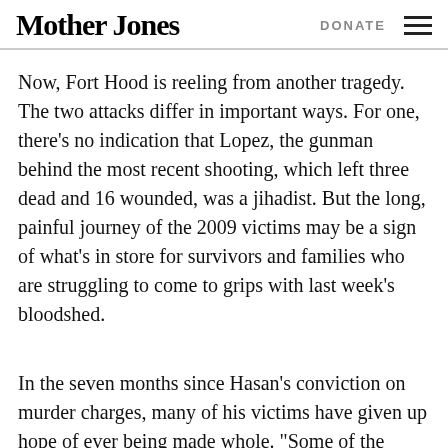Mother Jones | DONATE
Now, Fort Hood is reeling from another tragedy. The two attacks differ in important ways. For one, there’s no indication that Lopez, the gunman behind the most recent shooting, which left three dead and 16 wounded, was a jihadist. But the long, painful journey of the 2009 victims may be a sign of what’s in store for survivors and families who are struggling to come to grips with last week’s bloodshed.
In the seven months since Hasan’s conviction on murder charges, many of his victims have given up hope of ever being made whole. “Some of the